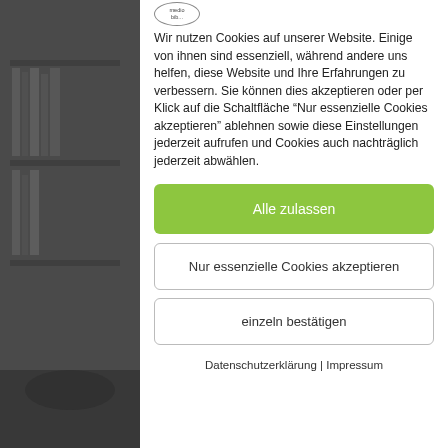[Figure (screenshot): Blurred background photo of an interior room/office space with bookshelves and chairs, dark grey tones]
Wir nutzen Cookies auf unserer Website. Einige von ihnen sind essenziell, während andere uns helfen, diese Website und Ihre Erfahrungen zu verbessern. Sie können dies akzeptieren oder per Klick auf die Schaltfläche "Nur essenzielle Cookies akzeptieren" ablehnen sowie diese Einstellungen jederzeit aufrufen und Cookies auch nachträglich jederzeit abwählen.
Alle zulassen
Nur essenzielle Cookies akzeptieren
einzeln bestätigen
Datenschutzerklärung | Impressum